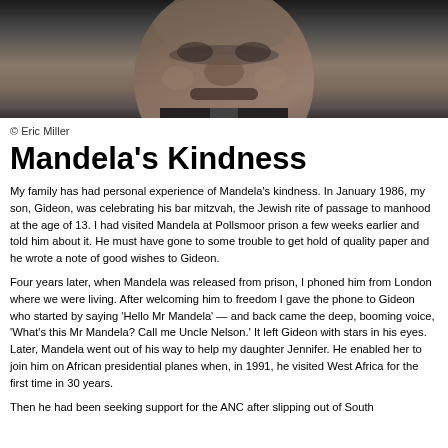[Figure (photo): Black and white close-up photograph of Nelson Mandela's face, showing from chin to forehead, wearing a suit and tie]
© Eric Miller
Mandela's Kindness
My family has had personal experience of Mandela's kindness. In January 1986, my son, Gideon, was celebrating his bar mitzvah, the Jewish rite of passage to manhood at the age of 13. I had visited Mandela at Pollsmoor prison a few weeks earlier and told him about it. He must have gone to some trouble to get hold of quality paper and he wrote a note of good wishes to Gideon.
Four years later, when Mandela was released from prison, I phoned him from London where we were living. After welcoming him to freedom I gave the phone to Gideon who started by saying 'Hello Mr Mandela' — and back came the deep, booming voice, 'What's this Mr Mandela? Call me Uncle Nelson.' It left Gideon with stars in his eyes. Later, Mandela went out of his way to help my daughter Jennifer. He enabled her to join him on African presidential planes when, in 1991, he visited West Africa for the first time in 30 years.
Then he had been seeking support for the ANC after slipping out of South